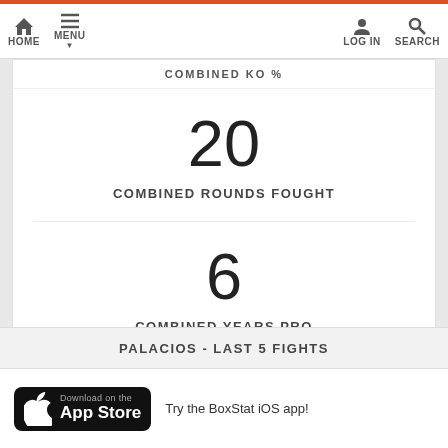HOME   MENU   LOG IN   SEARCH
COMBINED KO %
20
COMBINED ROUNDS FOUGHT
6
COMBINED YEARS PRO
PALACIOS - LAST 5 FIGHTS
Download on the App Store   Try the BoxStat iOS app!